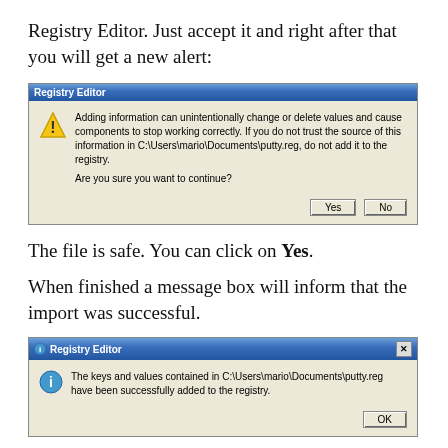Registry Editor. Just accept it and right after that you will get a new alert:
[Figure (screenshot): Windows Registry Editor warning dialog asking if user wants to add information that could change or delete values. Shows Yes and No buttons.]
The file is safe. You can click on Yes.
When finished a message box will inform that the import was successful.
[Figure (screenshot): Windows Registry Editor success dialog informing that keys and values from C:\Users\mario\Documents\putty.reg have been successfully added to the registry. Shows OK button.]